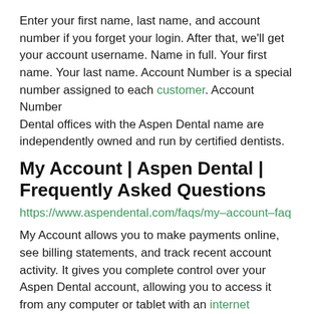Enter your first name, last name, and account number if you forget your login. After that, we'll get your account username. Name in full. Your first name. Your last name. Account Number is a special number assigned to each customer. Account Number Dental offices with the Aspen Dental name are independently owned and run by certified dentists.
My Account | Aspen Dental | Frequently Asked Questions
https://www.aspendental.com/faqs/my-account-faq
My Account allows you to make payments online, see billing statements, and track recent account activity. It gives you complete control over your Aspen Dental account, allowing you to access it from any computer or tablet with an internet connection, 24 hours a day,